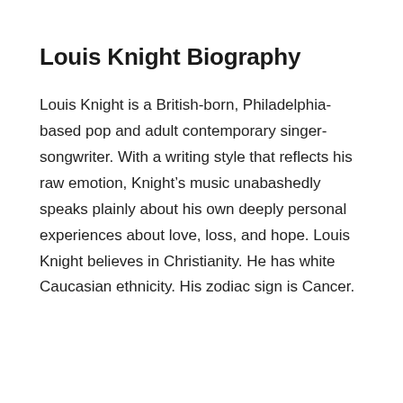Louis Knight Biography
Louis Knight is a British-born, Philadelphia-based pop and adult contemporary singer-songwriter. With a writing style that reflects his raw emotion, Knight’s music unabashedly speaks plainly about his own deeply personal experiences about love, loss, and hope. Louis Knight believes in Christianity. He has white Caucasian ethnicity. His zodiac sign is Cancer.